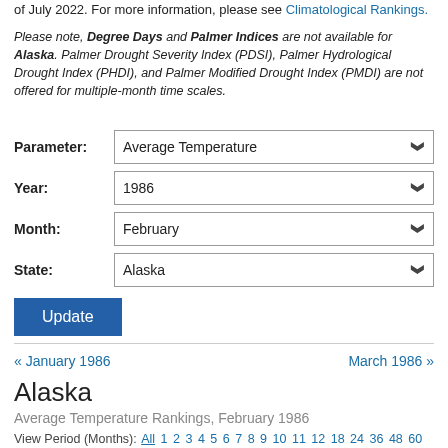of July 2022. For more information, please see Climatological Rankings.
Please note, Degree Days and Palmer Indices are not available for Alaska. Palmer Drought Severity Index (PDSI), Palmer Hydrological Drought Index (PHDI), and Palmer Modified Drought Index (PMDI) are not offered for multiple-month time scales.
Parameter: Average Temperature
Year: 1986
Month: February
State: Alaska
Update
« January 1986
March 1986 »
Alaska
Average Temperature Rankings, February 1986
View Period (Months): All 1 2 3 4 5 6 7 8 9 10 11 12 18 24 36 48 60